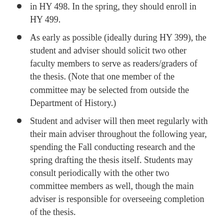in HY 498. In the spring, they should enroll in HY 499.
As early as possible (ideally during HY 399), the student and adviser should solicit two other faculty members to serve as readers/graders of the thesis. (Note that one member of the committee may be selected from outside the Department of History.)
Student and adviser will then meet regularly with their main adviser throughout the following year, spending the Fall conducting research and the spring drafting the thesis itself. Students may consult periodically with the other two committee members as well, though the main adviser is responsible for overseeing completion of the thesis.
To ensure sufficient time for evaluation, the thesis will be due to all committee members by December/April 1,